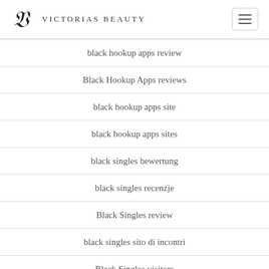Victorias Beauty
black hookup apps review
Black Hookup Apps reviews
black hookup apps site
black hookup apps sites
black singles bewertung
black singles recenzje
Black Singles review
black singles sito di incontri
Black Singles visitors